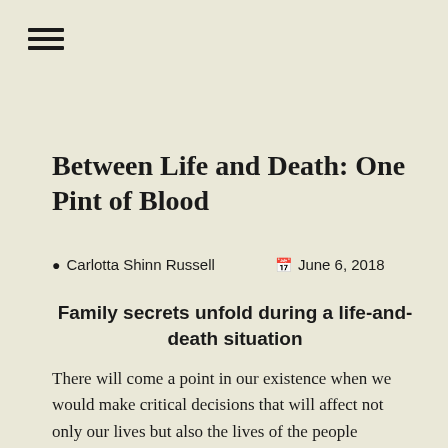[Figure (other): Hamburger menu icon with three horizontal lines]
Between Life and Death: One Pint of Blood
Carlotta Shinn Russell   June 6, 2018
Family secrets unfold during a life-and-death situation
There will come a point in our existence when we would make critical decisions that will affect not only our lives but also the lives of the people surrounding us. However, these